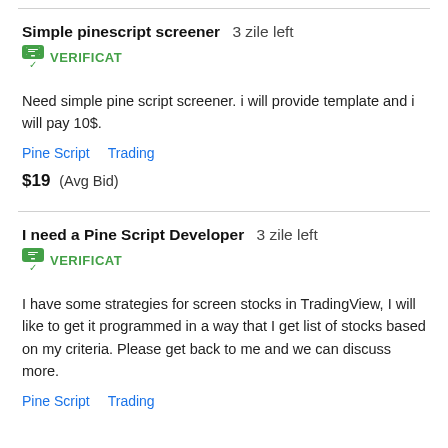Simple pinescript screener  3 zile left
VERIFICAT
Need simple pine script screener. i will provide template and i will pay 10$.
Pine Script   Trading
$19  (Avg Bid)
I need a Pine Script Developer  3 zile left
VERIFICAT
I have some strategies for screen stocks in TradingView, I will like to get it programmed in a way that I get list of stocks based on my criteria. Please get back to me and we can discuss more.
Pine Script   Trading